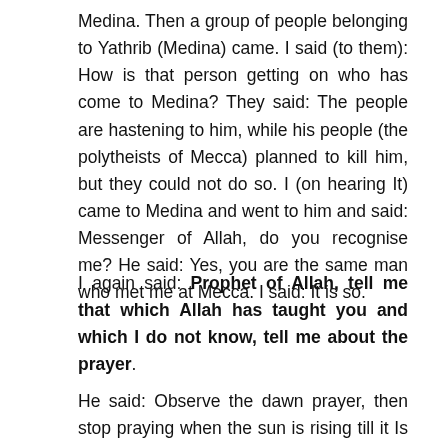Medina. Then a group of people belonging to Yathrib (Medina) came. I said (to them): How is that person getting on who has come to Medina? They said: The people are hastening to him, while his people (the polytheists of Mecca) planned to kill him, but they could not do so. I (on hearing It) came to Medina and went to him and said: Messenger of Allah, do you recognise me? He said: Yes, you are the same man who met me at Mecca. I said: It is so.
I again said: Prophet of Allah, tell me that which Allah has taught you and which I do not know, tell me about the prayer.
He said: Observe the dawn prayer, then stop praying when the sun is rising till it Is fully up, for